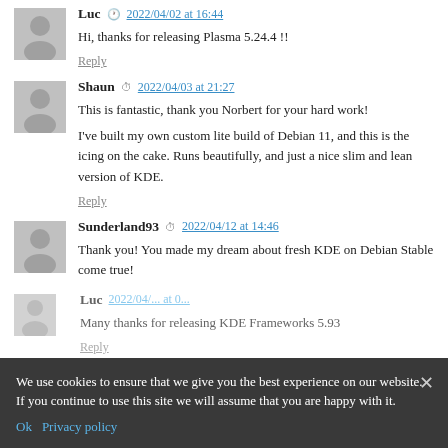Luc  2022/04/02 at 16:44
Hi, thanks for releasing Plasma 5.24.4 !!
Reply
Shaun  2022/04/03 at 21:27
This is fantastic, thank you Norbert for your hard work!
I've built my own custom lite build of Debian 11, and this is the icing on the cake. Runs beautifully, and just a nice slim and lean version of KDE.
Reply
Sunderland93  2022/04/12 at 14:46
Thank you! You made my dream about fresh KDE on Debian Stable come true!
Reply
Luc  2022/04/...
Many thanks for releasing KDE Frameworks 5.93
Reply
We use cookies to ensure that we give you the best experience on our website. If you continue to use this site we will assume that you are happy with it.
Ok  Privacy policy